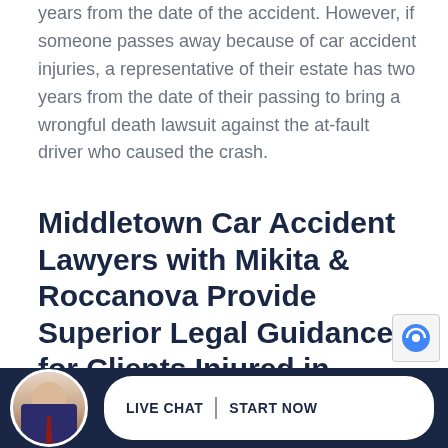years from the date of the accident. However, if someone passes away because of car accident injuries, a representative of their estate has two years from the date of their passing to bring a wrongful death lawsuit against the at-fault driver who caused the crash.
Middletown Car Accident Lawyers with Mikita & Roccanova Provide Superior Legal Guidance for Clients Injured in Crashes Across New Jersey
Betwe painful injuries, lost income, and costly...
[Figure (photo): Circular headshot photo of a man in a dark suit with a tie, used as a lawyer/attorney avatar in the live chat footer bar]
LIVE CHAT  START NOW